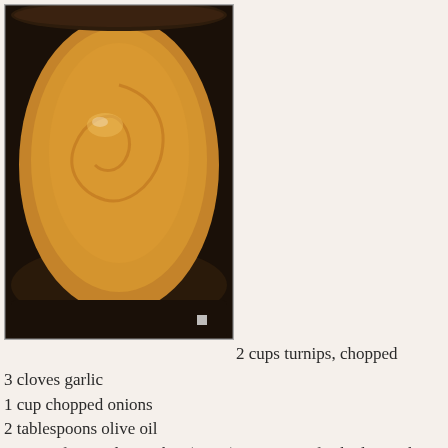[Figure (photo): Overhead view of a pot of blended pumpkin or butternut squash soup, showing a smooth golden-brown surface with a circular swirl pattern visible on top.]
2 cups turnips, chopped
3 cloves garlic
1 cup chopped onions
2 tablespoons olive oil
2 cups of canned pumpkin (1 can) or 2 cups of cubed pumpkin or butternut squash
4 cups vegetable broth
2 bay leaves
1 tablespoon honey or maple syrup